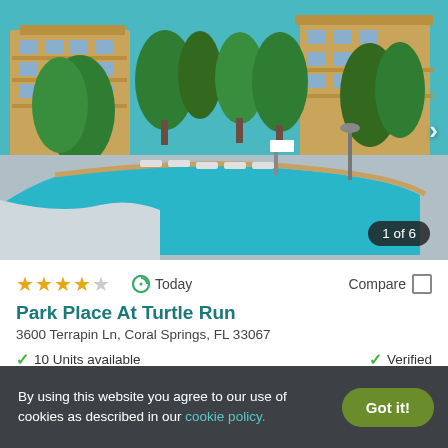[Figure (photo): Outdoor swimming pool surrounded by lounge chairs and palm trees, with apartment buildings in the background. Image shows '1 of 6' counter.]
★★★★☆  Today  Compare
Park Place At Turtle Run
3600 Terrapin Ln, Coral Springs, FL 33067
✓ 10 Units available   ✓ Verified
1 BED
$1,815+
By using this website you agree to our use of cookies as described in our cookie policy.